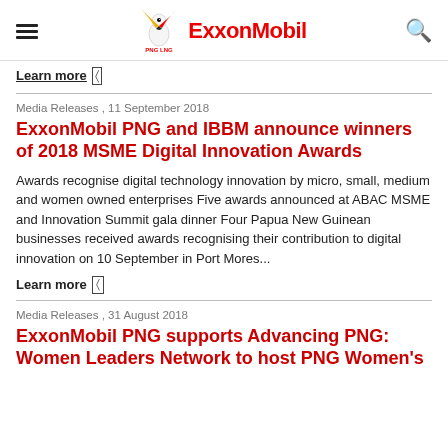PNG LNG ExxonMobil
Learn more
Media Releases , 11 September 2018
ExxonMobil PNG and IBBM announce winners of 2018 MSME Digital Innovation Awards
Awards recognise digital technology innovation by micro, small, medium and women owned enterprises Five awards announced at ABAC MSME and Innovation Summit gala dinner Four Papua New Guinean businesses received awards recognising their contribution to digital innovation on 10 September in Port Mores...
Learn more
Media Releases , 31 August 2018
ExxonMobil PNG supports Advancing PNG: Women Leaders Network to host PNG Women's